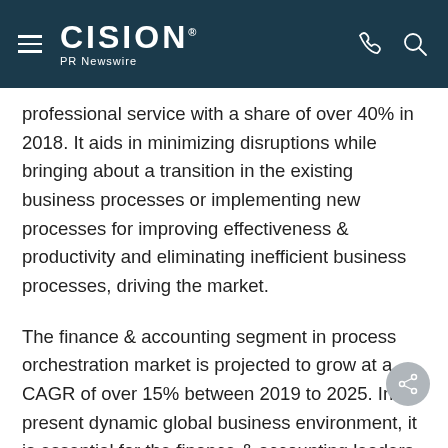CISION PR Newswire
professional service with a share of over 40% in 2018. It aids in minimizing disruptions while bringing about a transition in the existing business processes or implementing new processes for improving effectiveness & productivity and eliminating inefficient business processes, driving the market.
The finance & accounting segment in process orchestration market is projected to grow at a CAGR of over 15% between 2019 to 2025. In the present dynamic global business environment, it is essential for the finance & accounting leaders to deliver accurate and timely financial reports & services to their businesses. The finance and accounting